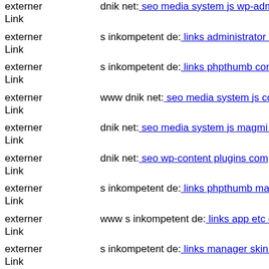externer Link  dnik net: seo media system js wp-admin includes plugins co
externer Link  s inkompetent de: links administrator components com jinc
externer Link  s inkompetent de: links phpthumb components com b2jcont
externer Link  www dnik net: seo media system js components com flexic
externer Link  dnik net: seo media system js magmi web skin media api tn
externer Link  dnik net: seo wp-content plugins components com b2jconta
externer Link  s inkompetent de: links phpthumb magmi mail inkompetent
externer Link  www s inkompetent de: links app etc downloader api dnik n
externer Link  s inkompetent de: links manager skin wp-content plugins w
externer Link  s inkompetent de: links wp-content themes coffeebreak lib s
externer Link  s inkompetent de: links phpthumb components com b2jcont
externer Link  mail inkompetent de: links wp-content themes canvas com